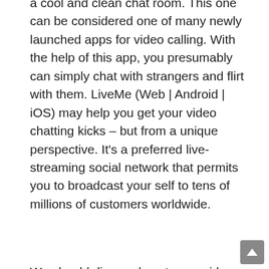a cool and clean chat room. This one can be considered one of many newly launched apps for video calling. With the help of this app, you presumably can simply chat with strangers and flirt with them. LiveMe (Web | Android | iOS) may help you get your video chatting kicks – but from a unique perspective. It's a preferred live-streaming social network that permits you to broadcast your self to tens of millions of customers worldwide.
We should discuss how to use video chatting safely earlier than going into an in depth dialogue about each website. However, if you discover yourself speaking with strangers at random, you must exercise a bit extra warning. Twoo presents a perfect platform to meet strangers from all over the world. You can hold on with people on free video calls, talk and chat with them. Above all, it even enables you to uncover people near you simply by confirming your zone. We have all the time targeted on making the site female pleasant in order that we can have extra female strangers to talk to.